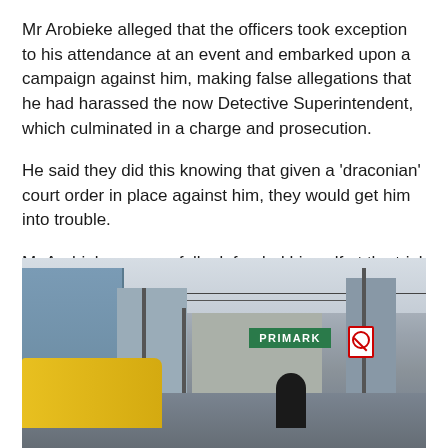Mr Arobieke alleged that the officers took exception to his attendance at an event and embarked upon a campaign against him, making false allegations that he had harassed the now Detective Superintendent, which culminated in a charge and prosecution.
He said they did this knowing that given a 'draconian' court order in place against him, they would get him into trouble.
Mr Arobieke successfully defended himself at the trial of harassment in 2013.
[Figure (photo): Street scene photograph showing an urban city centre with buildings including a Primark store sign, street poles, wires, a yellow tram or bus on the left, and a dark figure in the foreground. The scene appears to be in a UK city centre.]